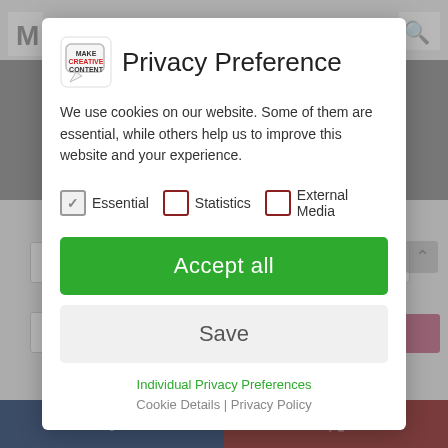[Figure (screenshot): Background of a website page with navigation, form fields, and social sharing bar, dimmed behind a modal dialog.]
Privacy Preference
We use cookies on our website. Some of them are essential, while others help us to improve this website and your experience.
Essential  Statistics  External Media
Accept all
Save
Individual Privacy Preferences
Cookie Details | Privacy Policy